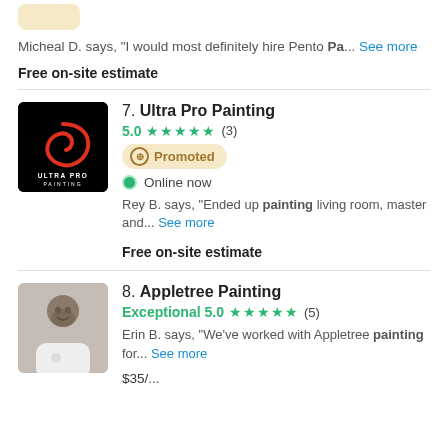Micheal D. says, "I would most definitely hire Pento Pa... See more
Free on-site estimate
[Figure (logo): Ultra Pro Painting logo: black background with red swirl/circle, text ULTRA PRO PAINTING]
7. Ultra Pro Painting
5.0 ★★★★★ (3)
Promoted
Online now
Rey B. says, "Ended up painting living room, master and... See more
Free on-site estimate
[Figure (photo): Photo of a man with beard wearing a white shirt]
8. Appletree Painting
Exceptional 5.0 ★★★★★ (5)
Erin B. says, "We've worked with Appletree painting for... See more
$35/...